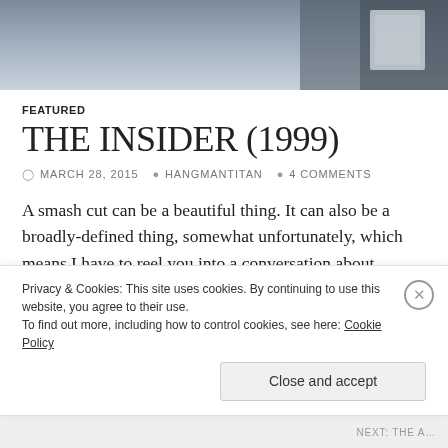[Figure (photo): Partial photo strip at top of page, showing a blurred person in dark clothing]
FEATURED
THE INSIDER (1999)
MARCH 28, 2015   HANGMANTITAN   4 COMMENTS
A smash cut can be a beautiful thing. It can also be a broadly-defined thing, somewhat unfortunately, which means I have to reel you into a conversation about Michael Mann's The Insider by providing a narrowed definition of smash cut. Excited yet? The added problem, of course, is that one of you damn dear
Privacy & Cookies: This site uses cookies. By continuing to use this website, you agree to their use.
To find out more, including how to control cookies, see here: Cookie Policy
Close and accept